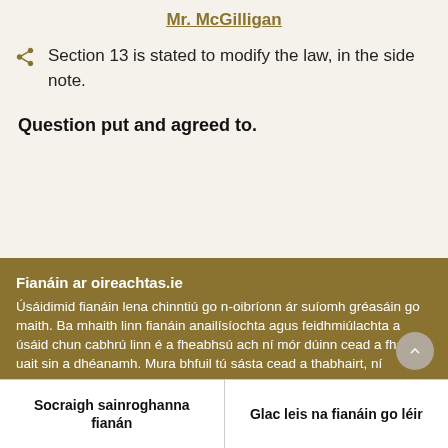Mr. McGilligan
Section 13 is stated to modify the law, in the side note.
Question put and agreed to.
Fianáin ar oireachtas.ie
Úsáidimid fianáin lena chinntiú go n-oibríonn ár suíomh gréasáin go maith. Ba mhaith linn fianáin anailísíochta agus feidhmiúlachta a úsáid chun cabhrú linn é a fheabhsú ach ní mór dúinn cead a fháil uait sin a dhéanamh. Mura bhfuil tú sásta cead a thabhairt, ní úsáidfear ach fianáin riachtanacha. Léigh tuileadh faoinár bhfianáin
Socraigh sainroghanna fianán | Glac leis na fianáin go léir